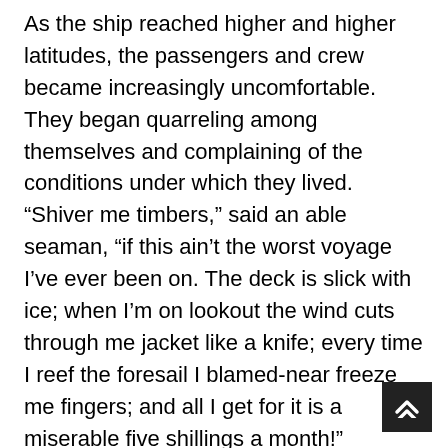As the ship reached higher and higher latitudes, the passengers and crew became increasingly uncomfortable. They began quarreling among themselves and complaining of the conditions under which they lived. “Shiver me timbers,” said an able seaman, “if this ain’t the worst voyage I’ve ever been on. The deck is slick with ice; when I’m on lookout the wind cuts through me jacket like a knife; every time I reef the foresail I blamed-near freeze me fingers; and all I get for it is a miserable five shillings a month!” “You think you have it bad!” said a lady passenger. “I can’t sleep at night for the cold. Ladies on this ship don’t get as many